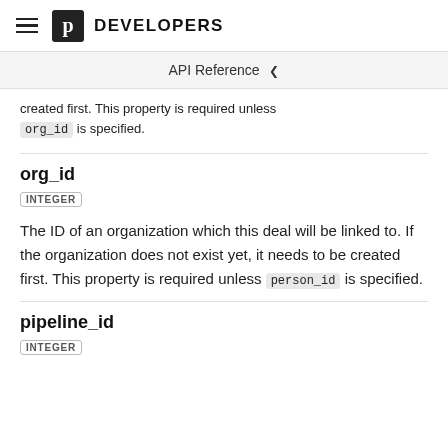DEVELOPERS
API Reference
created first. This property is required unless org_id is specified.
org_id
INTEGER
The ID of an organization which this deal will be linked to. If the organization does not exist yet, it needs to be created first. This property is required unless person_id is specified.
pipeline_id
INTEGER